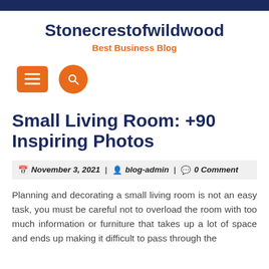Stonecrestofwildwood — Best Business Blog
Small Living Room: +90 Inspiring Photos
November 3, 2021 | blog-admin | 0 Comment
Planning and decorating a small living room is not an easy task, you must be careful not to overload the room with too much information or furniture that takes up a lot of space and ends up making it difficult to pass through the